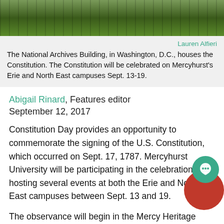[Figure (photo): Photo of the National Archives Building exterior with green lawn and iron fence]
Lauren Alfieri
The National Archives Building, in Washington, D.C., houses the Constitution. The Constitution will be celebrated on Mercyhurst's Erie and North East campuses Sept. 13-19.
Abigail Rinard, Features editor
September 12, 2017
Constitution Day provides an opportunity to commemorate the signing of the U.S. Constitution, which occurred on Sept. 17, 1787. Mercyhurst University will be participating in the celebration by hosting several events at both the Erie and North East campuses between Sept. 13 and 19.
The observance will begin in the Mercy Heritage Room on Sept. 13 at 7 p.m., where the Evelyn Lincoln Institute for Ethics and Society (ELIES), with the help of the